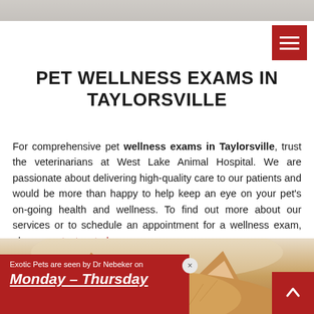[Figure (photo): Top portion of a photo visible at the very top of the page, partially cropped]
PET WELLNESS EXAMS IN TAYLORSVILLE
For comprehensive pet wellness exams in Taylorsville, trust the veterinarians at West Lake Animal Hospital. We are passionate about delivering high-quality care to our patients and would be more than happy to help keep an eye on your pet's on-going health and wellness. To find out more about our services or to schedule an appointment for a wellness exam, please contact us today.
[Figure (photo): Close-up photo of an orange/ginger kitten peeking up from the bottom of the frame, showing ears and top of head with bright blue eyes]
Exotic Pets are seen by Dr Nebeker on Monday - Thursday